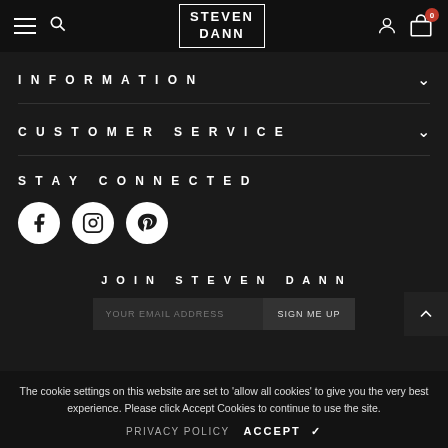Steven Dann — navigation header with hamburger menu, search, logo, user icon, cart (0)
INFORMATION
CUSTOMER SERVICE
STAY CONNECTED
[Figure (infographic): Social media icons: Facebook, Instagram, Pinterest (white circles on dark background)]
JOIN STEVEN DANN
SIGN ME UP
The cookie settings on this website are set to 'allow all cookies' to give you the very best experience. Please click Accept Cookies to continue to use the site.
PRIVACY POLICY  ACCEPT ✓